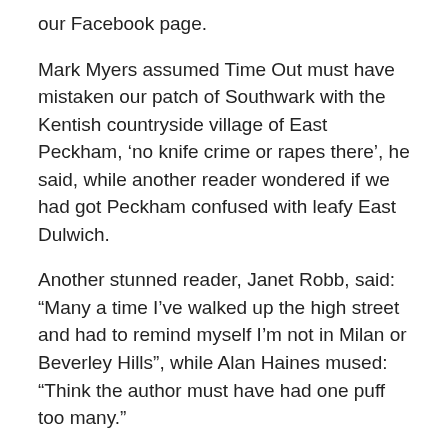our Facebook page.
Mark Myers assumed Time Out must have mistaken our patch of Southwark with the Kentish countryside village of East Peckham, ‘no knife crime or rapes there’, he said, while another reader wondered if we had got Peckham confused with leafy East Dulwich.
Another stunned reader, Janet Robb, said: “Many a time I’ve walked up the high street and had to remind myself I’m not in Milan or Beverley Hills”, while Alan Haines mused: “Think the author must have had one puff too many.”
But it’s not all bad news, with Time Out saying: “It’s vibrant, creative, alternative, bohemian, original, independent and fiercely proud if its roots.
“It’s amazing to see the way culture brings the